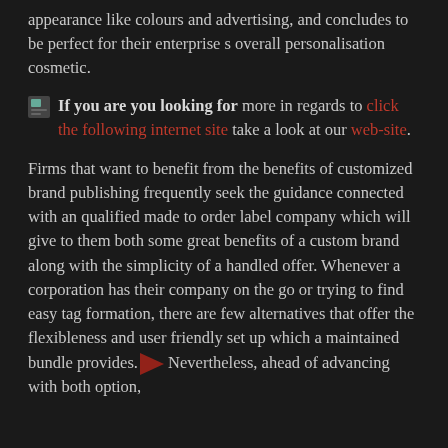appearance like colours and advertising, and concludes to be perfect for their enterprise s overall personalisation cosmetic.
If you are you looking for more in regards to click the following internet site take a look at our web-site.
Firms that want to benefit from the benefits of customized brand publishing frequently seek the guidance connected with an qualified made to order label company which will give to them both some great benefits of a custom brand along with the simplicity of a handled offer. Whenever a corporation has their company on the go or trying to find easy tag formation, there are few alternatives that offer the flexibleness and user friendly set up which a maintained bundle provides. Nevertheless, ahead of advancing with both option,